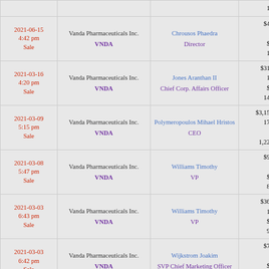| Date/Type | Company | Insider | Values |
| --- | --- | --- | --- |
|  |  |  | 15,200 |
| 2021-06-15
4:42 pm
Sale | Vanda Pharmaceuticals Inc.
VNDA | Chrousos Phaedra
Director | $40,132
2,075
$19.34
12,925 |
| 2021-03-16
4:20 pm
Sale | Vanda Pharmaceuticals Inc.
VNDA | Jones Aranthan II
Chief Corp. Affairs Officer | $319,010
18,000
$17.72
148,935 |
| 2021-03-09
5:15 pm
Sale | Vanda Pharmaceuticals Inc.
VNDA | Polymeropoulos Mihael Hristos
CEO | $3,150,053
175,000
$18
1,221,062 |
| 2021-03-08
5:47 pm
Sale | Vanda Pharmaceuticals Inc.
VNDA | Williams Timothy
VP | $99,966
5,600
$17.85
86,926 |
| 2021-03-03
6:43 pm
Sale | Vanda Pharmaceuticals Inc.
VNDA | Williams Timothy
VP | $362,850
19,530
$18.58
92,526 |
| 2021-03-03
6:42 pm
Sale | Vanda Pharmaceuticals Inc.
VNDA | Wijkstrom Joakim
SVP Chief Marketing Officer | $71,729
3,888
$18.45
78,202 |